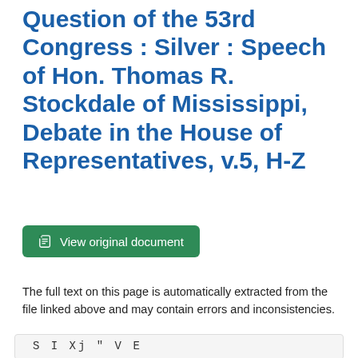Question of the 53rd Congress : Silver : Speech of Hon. Thomas R. Stockdale of Mississippi, Debate in the House of Representatives, v.5, H-Z
View original document
The full text on this page is automatically extracted from the file linked above and may contain errors and inconsistencies.
S I Xj " V E